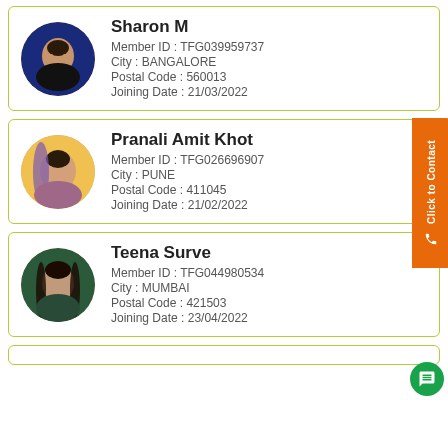[Figure (photo): Profile photo of Sharon M, circular crop, woman with dark hair]
Sharon M
Member ID : TFG039959737
City : BANGALORE
Postal Code : 560013
Joining Date : 21/03/2022
[Figure (photo): Profile photo of Pranali Amit Khot, circular crop, woman with dark hair and yellow background]
Pranali Amit Khot
Member ID : TFG026696907
City : PUNE
Postal Code : 411045
Joining Date : 21/02/2022
[Figure (photo): Profile photo of Teena Surve, circular crop, woman with long dark hair]
Teena Surve
Member ID : TFG044980534
City : MUMBAI
Postal Code : 421503
Joining Date : 23/04/2022